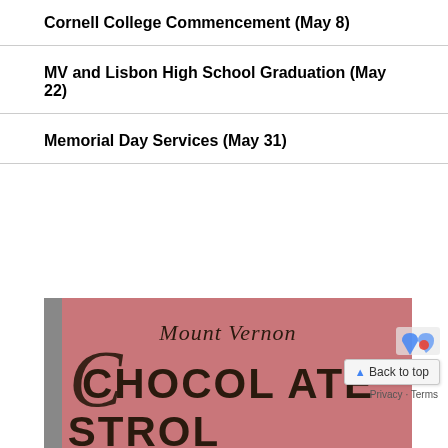Cornell College Commencement (May 8)
MV and Lisbon High School Graduation (May 22)
Memorial Day Services (May 31)
[Figure (illustration): Mount Vernon Chocolate Stroll promotional image with pink background and decorative text reading 'Mount Vernon CHOCOLATE STROLL']
Back to top
Privacy · Terms